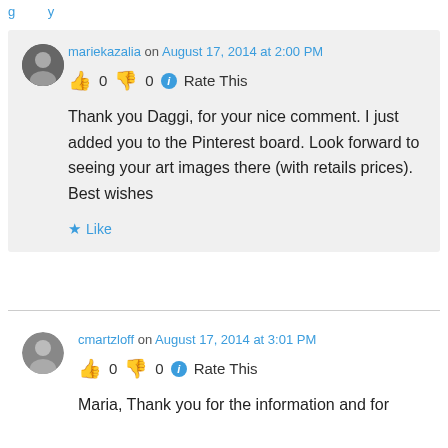mariekazalia on August 17, 2014 at 2:00 PM
👍 0 👎 0 ℹ Rate This
Thank you Daggi, for your nice comment. I just added you to the Pinterest board. Look forward to seeing your art images there (with retails prices). Best wishes
★ Like
cmartzloff on August 17, 2014 at 3:01 PM
👍 0 👎 0 ℹ Rate This
Maria, Thank you for the information and for